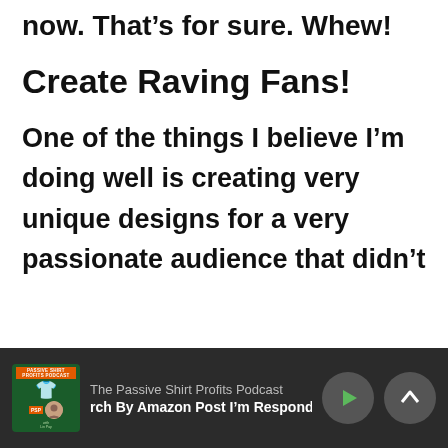now. That's for sure. Whew!
Create Raving Fans!
One of the things I believe I'm doing well is creating very unique designs for a very passionate audience that didn't
The Passive Shirt Profits Podcast — rch By Amazon Post I'm Responding